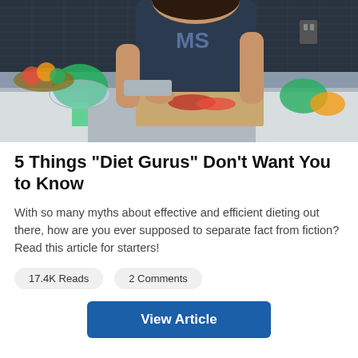[Figure (photo): Woman in a navy tank top with 'MS' logo chopping vegetables on a wooden cutting board in a modern kitchen, with strawberries, broccoli, and bell peppers visible on the counter.]
5 Things "Diet Gurus" Don't Want You to Know
With so many myths about effective and efficient dieting out there, how are you ever supposed to separate fact from fiction? Read this article for starters!
17.4K Reads   2 Comments
View Article